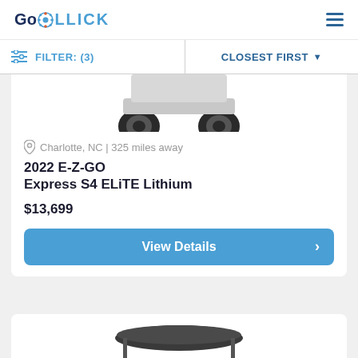GoROLLICK
FILTER: (3)   CLOSEST FIRST
[Figure (photo): Partial view of a golf cart or electric vehicle, showing the rear wheels/base, cropped at the top of a product listing card]
Charlotte, NC | 325 miles away
2022 E-Z-GO Express S4 ELiTE Lithium
$13,699
View Details
[Figure (photo): Partial view of a second vehicle listing, showing the top of a golf cart canopy/roof, cropped at the bottom of the page]